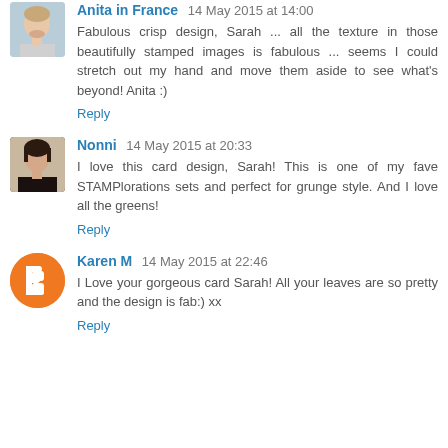[Figure (photo): Avatar photo of Anita in France - a smiling person with short hair]
Anita in France 14 May 2015 at 14:00
Fabulous crisp design, Sarah ... all the texture in those beautifully stamped images is fabulous ... seems I could stretch out my hand and move them aside to see what's beyond! Anita :)
Reply
[Figure (photo): Avatar photo of Nonni - a person with dark hair wearing a dark top]
Nonni 14 May 2015 at 20:33
I love this card design, Sarah! This is one of my fave STAMPlorations sets and perfect for grunge style. And I love all the greens!
Reply
[Figure (logo): Avatar icon of Karen M - orange circle with white Blogger B logo]
Karen M 14 May 2015 at 22:46
I Love your gorgeous card Sarah! All your leaves are so pretty and the design is fab:) xx
Reply